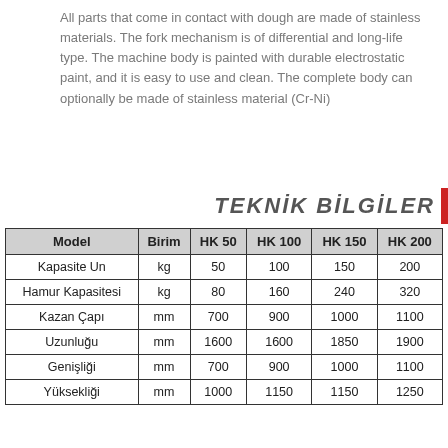All parts that come in contact with dough are made of stainless materials. The fork mechanism is of differential and long-life type. The machine body is painted with durable electrostatic paint, and it is easy to use and clean. The complete body can optionally be made of stainless material (Cr-Ni)
TEKNİK BİLGİLER
| Model | Birim | HK 50 | HK 100 | HK 150 | HK 200 |
| --- | --- | --- | --- | --- | --- |
| Kapasite Un | kg | 50 | 100 | 150 | 200 |
| Hamur Kapasitesi | kg | 80 | 160 | 240 | 320 |
| Kazan Çapı | mm | 700 | 900 | 1000 | 1100 |
| Uzunluğu | mm | 1600 | 1600 | 1850 | 1900 |
| Genişliği | mm | 700 | 900 | 1000 | 1100 |
| Yüksekliği | mm | 1000 | 1150 | 1150 | 1250 |